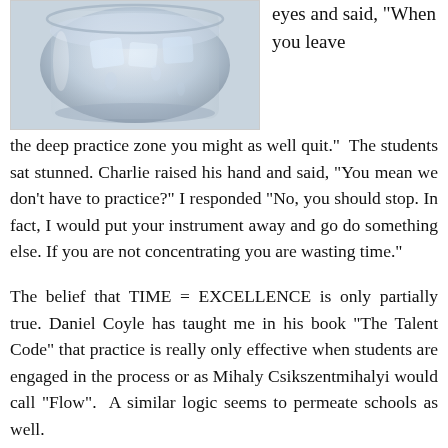[Figure (photo): A glass of water with ice, viewed from slightly above, against a white background.]
eyes and said, "When you leave the deep practice zone you might as well quit."  The students sat stunned. Charlie raised his hand and said, "You mean we don't have to practice?" I responded "No, you should stop. In fact, I would put your instrument away and go do something else. If you are not concentrating you are wasting time."
The belief that TIME = EXCELLENCE is only partially true. Daniel Coyle has taught me in his book "The Talent Code" that practice is really only effective when students are engaged in the process or as Mihaly Csikszentmihalyi would call "Flow".  A similar logic seems to permeate schools as well.